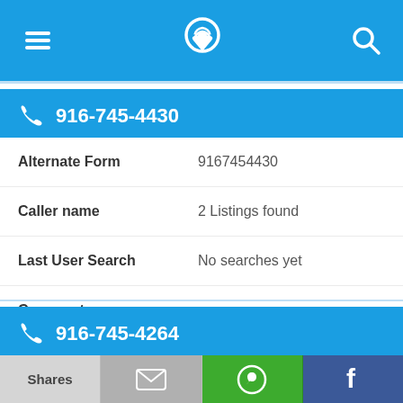[Figure (screenshot): Mobile app top navigation bar with hamburger menu icon, phone/location pin icon, and search icon on blue background]
916-745-4430
| Field | Value |
| --- | --- |
| Alternate Form | 9167454430 |
| Caller name | 2 Listings found |
| Last User Search | No searches yet |
| Comments |  |
916-745-4264
Shares